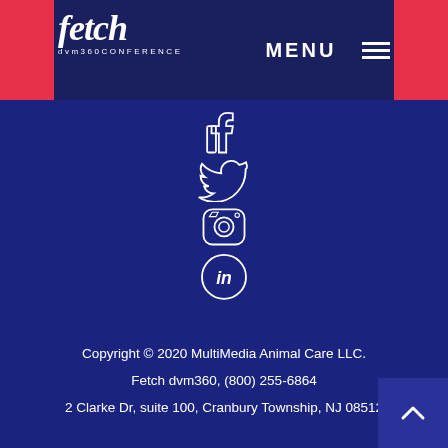fetch dvm360CONFERENCE | MENU
[Figure (illustration): Social media icons: Facebook thumbs-up, Twitter bird, Instagram camera, LinkedIn circle icon — white on dark navy blue background]
Copyright © 2020 MultiMedia Animal Care LLC. Fetch dvm360, (800) 255-6864 2 Clarke Dr, suite 100, Cranbury Township, NJ 08512